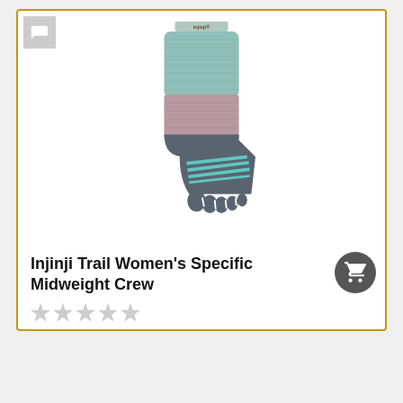[Figure (photo): Injinji toe sock product photo showing a single sock with teal upper cuff, mauve/pink ankle section, dark gray heel and toe sections with teal horizontal stripe accents, and individual toe pockets. The Injinji logo is visible on the cuff.]
Injinji Trail Women's Specific Midweight Crew
★★★★★ (0 stars, empty rating)
$34.99